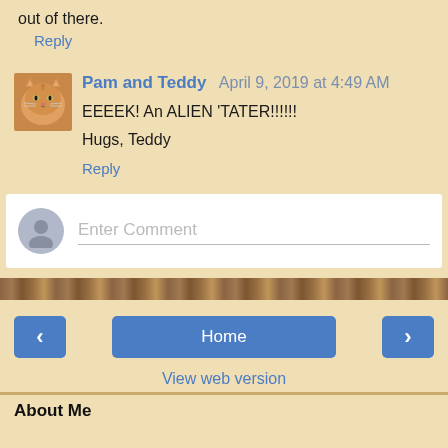out of there.
Reply
Pam and Teddy   April 9, 2019 at 4:49 AM
EEEEK! An ALIEN 'TATER!!!!!!
Hugs, Teddy
Reply
[Figure (screenshot): Enter Comment input box with user avatar placeholder]
[Figure (illustration): Wood-grain horizontal divider strip]
< | Home | >
View web version
About Me